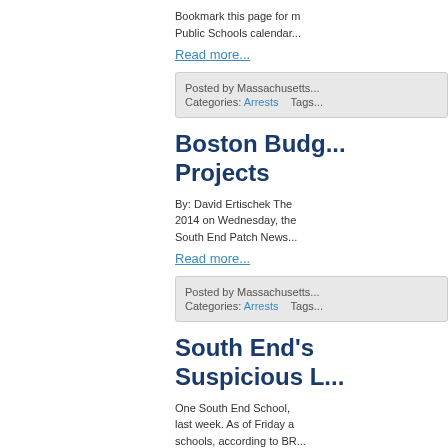Bookmark this page for Massachusetts Public Schools calendar...
Read more...
Posted by Massachusetts... Categories: Arrests   Tags...
Boston Budg... Projects
By: David Ertischek The 2014 on Wednesday, the South End Patch News...
Read more...
Posted by Massachusetts... Categories: Arrests   Tags...
South End's Suspicious L...
One South End School, last week. As of Friday a schools, according to BR... letters, and it is possibl...